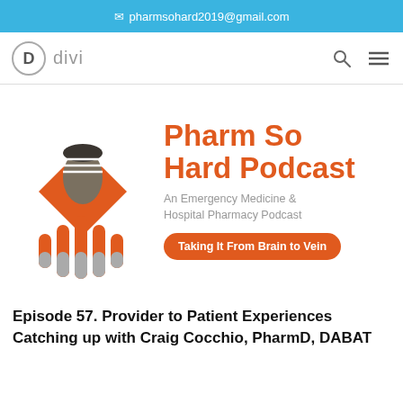pharmsohard2019@gmail.com
[Figure (logo): Divi logo with circle D and text 'divi' plus search and menu icons]
[Figure (logo): Pharm So Hard Podcast logo with microphone and soundwave graphic. Title: 'Pharm So Hard Podcast', subtitle: 'An Emergency Medicine & Hospital Pharmacy Podcast', tagline button: 'Taking It From Brain to Vein']
Episode 57. Provider to Patient Experiences Catching up with Craig Cocchio, PharmD, DABAT